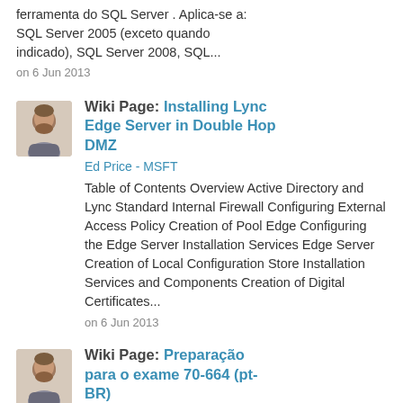ferramenta do SQL Server . Aplica-se a: SQL Server 2005 (exceto quando indicado), SQL Server 2008, SQL...
on 6 Jun 2013
Wiki Page: Installing Lync Edge Server in Double Hop DMZ
Ed Price - MSFT
Table of Contents Overview Active Directory and Lync Standard Internal Firewall Configuring External Access Policy Creation of Pool Edge Configuring the Edge Server Installation Services Edge Server Creation of Local Configuration Store Installation Services and Components Creation of Digital Certificates...
on 6 Jun 2013
Wiki Page: Preparação para o exame 70-664 (pt-BR)